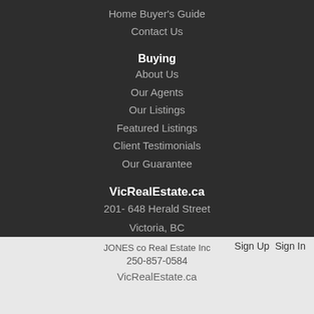Home Buyer's Guide
Contact Us
Buying
About Us
Our Agents
Our Listings
Featured Listings
Client Testimonials
Our Guarantee
VicRealEstate.ca
201- 648 Herald Street
Victoria, BC
JONES co Real Estate Inc   250-857-0584   VicRealEstate.ca   Sign Up   Sign In